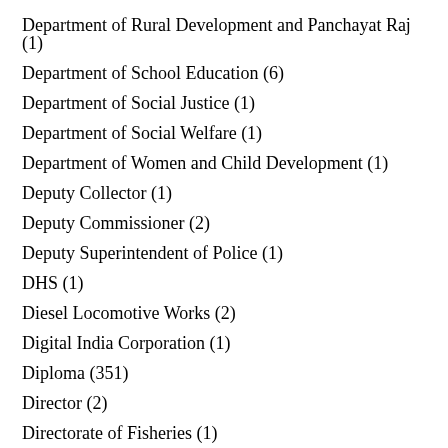Department of Rural Development and Panchayat Raj (1)
Department of School Education (6)
Department of Social Justice (1)
Department of Social Welfare (1)
Department of Women and Child Development (1)
Deputy Collector (1)
Deputy Commissioner (2)
Deputy Superintendent of Police (1)
DHS (1)
Diesel Locomotive Works (2)
Digital India Corporation (1)
Diploma (351)
Director (2)
Directorate of Fisheries (1)
Directorate of Governance Reforms (1)